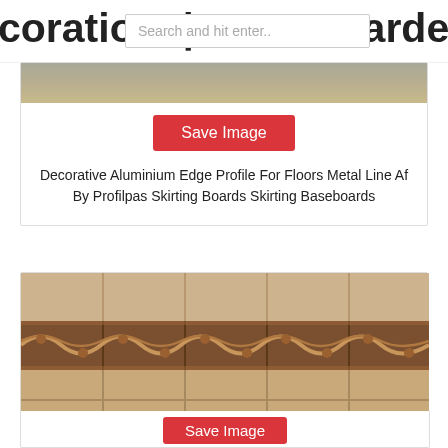corations| Home Garden | Home Fa
Search and hit enter..
[Figure (photo): Partial view of a floor/baseboard area, cropped at top of card]
Save Image
Decorative Aluminium Edge Profile For Floors Metal Line Af By Profilpas Skirting Boards Skirting Baseboards
[Figure (photo): Decorative bronze/metallic tile border with ornate leaf and scroll pattern, installed between beige ceramic tiles on a wall]
Save Image